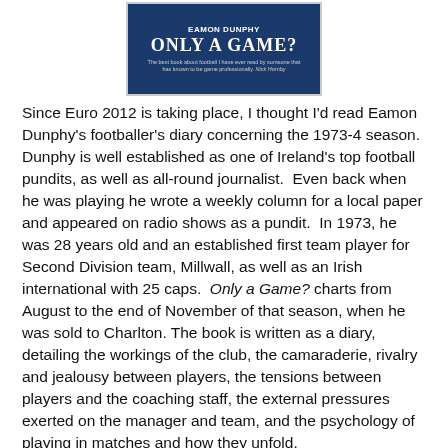[Figure (illustration): Book cover of 'Only a Game?' by Eamon Dunphy, dark blue background with bold white title text and subtitle text]
Since Euro 2012 is taking place, I thought I'd read Eamon Dunphy's footballer's diary concerning the 1973-4 season. Dunphy is well established as one of Ireland's top football pundits, as well as all-round journalist.  Even back when he was playing he wrote a weekly column for a local paper and appeared on radio shows as a pundit.  In 1973, he was 28 years old and an established first team player for Second Division team, Millwall, as well as an Irish international with 25 caps.  Only a Game? charts from August to the end of November of that season, when he was sold to Charlton. The book is written as a diary, detailing the workings of the club, the camaraderie, rivalry and jealousy between players, the tensions between players and the coaching staff, the external pressures exerted on the manager and team, and the psychology of playing in matches and how they unfold.
The real strengths of the book are the level of reflexivity and that Dunphy doesn't pull any punches.  The narrative does more than describe a season, but tries to explain and to provide an insight into the minds and life of a player and